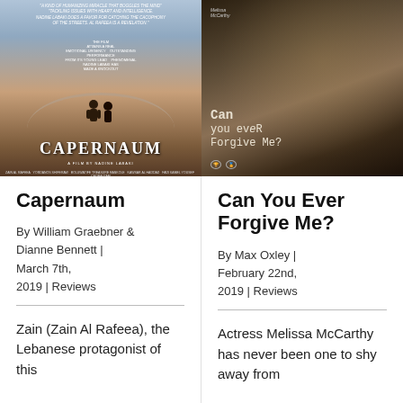[Figure (photo): Movie poster for Capernaum — two child silhouettes on a bridge; text reads CAPERNAUM, A FILM BY NADINE LABAKI; critic quotes at top]
[Figure (photo): Movie poster for Can You Ever Forgive Me? — dark tones, woman at typewriter desk; title in typewriter font: Can you ever Forgive Me?; Melissa McCarthy credited at top]
Capernaum
By William Graebner & Dianne Bennett | March 7th, 2019 | Reviews
Zain (Zain Al Rafeea), the Lebanese protagonist of this
Can You Ever Forgive Me?
By Max Oxley | February 22nd, 2019 | Reviews
Actress Melissa McCarthy has never been one to shy away from